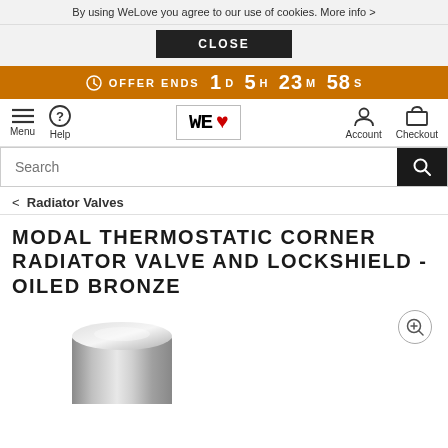By using WeLove you agree to our use of cookies. More info >
CLOSE
OFFER ENDS 1D 5H 23M 58S
WE ❤ Menu Help Account Checkout
Search
< Radiator Valves
MODAL THERMOSTATIC CORNER RADIATOR VALVE AND LOCKSHIELD - OILED BRONZE
[Figure (photo): Bottom portion of a metallic silver/chrome cylindrical radiator valve component on white background]